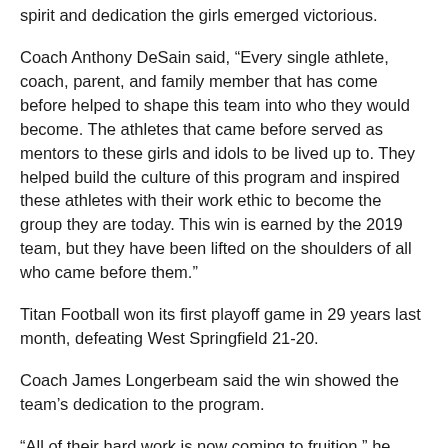spirit and dedication the girls emerged victorious.
Coach Anthony DeSain said, “Every single athlete, coach, parent, and family member that has come before helped to shape this team into who they would become. The athletes that came before served as mentors to these girls and idols to be lived up to. They helped build the culture of this program and inspired these athletes with their work ethic to become the group they are today. This win is earned by the 2019 team, but they have been lifted on the shoulders of all who came before them.”
Titan Football won its first playoff game in 29 years last month, defeating West Springfield 21-20.
Coach James Longerbeam said the win showed the team’s dedication to the program.
“All of their hard work is now coming to fruition,” he said.
In the classroom, T.C. journalism students were recognized for the